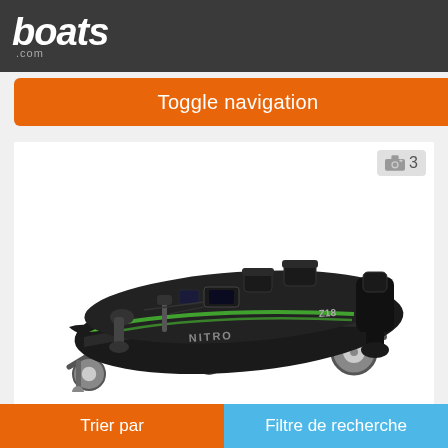boats.com
Toggle navigation
[Figure (photo): Nitro Z18 Pro bass boat on trailer, black and green color scheme, with outboard motor, shown on white background]
Nitro Z18 Pro
Lake Charles, Louisiana, États-Unis
Trier par | Filtre de recherche